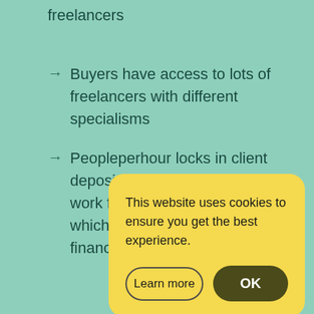freelancers
Buyers have access to lots of freelancers with different specialisms
Peopleperhour locks in client deposits before you start any work for anyone as a freelancer – which gives you a great degree of financial security.
(partial arrow visible)
[Figure (screenshot): Cookie consent popup with yellow background. Text: 'This website uses cookies to ensure you get the best experience.' Two buttons: 'Learn more' (outlined) and 'OK' (dark filled).]
Who
It's a
affordable freelancers from a broad spectrum of skills.